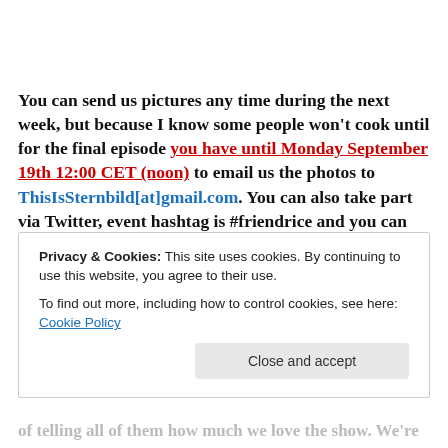You can send us pictures any time during the next week, but because I know some people won't cook until for the final episode you have until Monday September 19th 12:00 CET (noon) to email us the photos to ThisIsSternbild[at]gmail.com. You can also take part via Twitter, event hashtag is #friendrice and you can tweet your pictures to @ThisIsSternbild. Feel f...
Privacy & Cookies: This site uses cookies. By continuing to use this website, you agree to their use. To find out more, including how to control cookies, see here: Cookie Policy
of telling all of them how much we love the show. We're